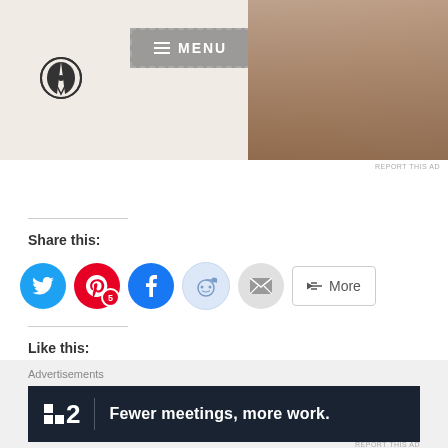[Figure (screenshot): WordPress website header screenshot with WordPress logo, dashed MENU button, and laptop photo on right side]
REPORT THIS AD
Share this:
[Figure (other): Social sharing buttons row: Twitter (blue circle), Pinterest (red circle with badge 5), Facebook (blue circle), Reddit (light blue circle), Email (gray circle), and More button]
Like this:
Loading...
Advertisements
[Figure (other): Advertisement banner: dark navy background with Planio logo and text 'Fewer meetings, more work.']